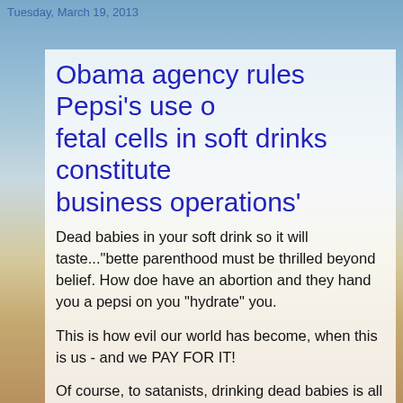Tuesday, March 19, 2013
Obama agency rules Pepsi's use of fetal cells in soft drinks constitute 'business operations'
Dead babies in your soft drink so it will taste..."bette parenthood must be thrilled beyond belief. How doe have an abortion and they hand you a pepsi on you "hydrate" you.
This is how evil our world has become, when this is us - and we PAY FOR IT!
Of course, to satanists, drinking dead babies is all o they do anyway...they just want everyone in on it. T you...slipping you a mickey with aborted children.